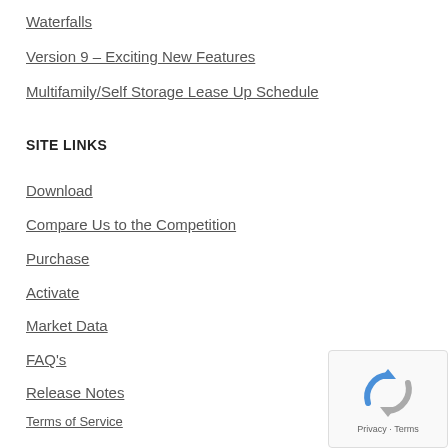Waterfalls
Version 9 – Exciting New Features
Multifamily/Self Storage Lease Up Schedule
SITE LINKS
Download
Compare Us to the Competition
Purchase
Activate
Market Data
FAQ's
Release Notes
Terms of Service
Site Map
My account
[Figure (logo): reCAPTCHA badge with Privacy and Terms text]